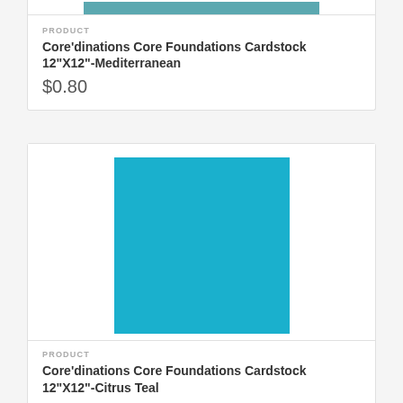[Figure (photo): Partial view of teal/Mediterranean colored cardstock image at top of page]
PRODUCT
Core'dinations Core Foundations Cardstock 12"X12"-Mediterranean
$0.80
[Figure (photo): Bright teal/Citrus Teal colored cardstock square on white background]
PRODUCT
Core'dinations Core Foundations Cardstock 12"X12"-Citrus Teal